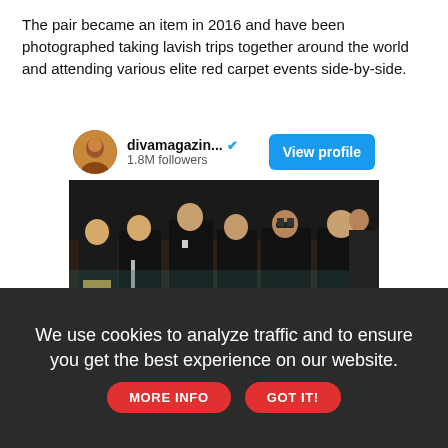The pair became an item in 2016 and have been photographed taking lavish trips together around the world and attending various elite red carpet events side-by-side.
[Figure (screenshot): Instagram embed showing divamagazin... account with 1.8M followers and a View profile button, followed by a photo of several people in formal attire seated at what appears to be a fashion show front row.]
We use cookies to analyze traffic and to ensure you get the best experience on our website. MORE INFO GOT IT!